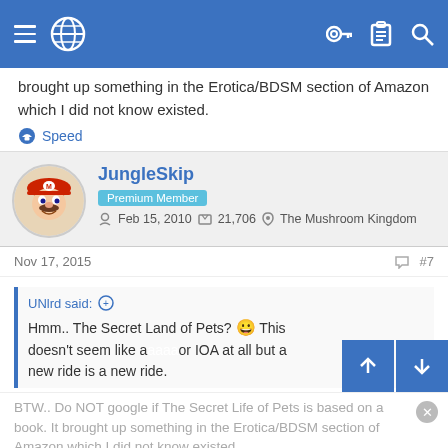Navigation bar with hamburger menu, globe icon, key icon, clipboard icon, search icon
brought up something in the Erotica/BDSM section of Amazon which I did not know existed.
Speed
JungleSkip
Premium Member
Feb 15, 2010   21,706   The Mushroom Kingdom
Nov 17, 2015   #7
UNlrd said: ⊕
Hmm.. The Secret Land of Pets? 😀 This doesn't seem like a or IOA at all but a new ride is a new ride.
BTW.. Do NOT google if The Secret Life of Pets is based on a book. It brought up something in the Erotica/BDSM section of Amazon which I did not know existed.